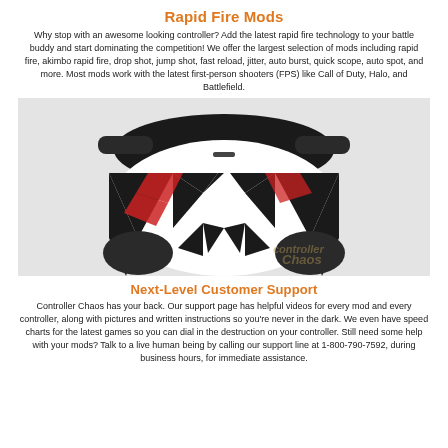Rapid Fire Mods
Why stop with an awesome looking controller? Add the latest rapid fire technology to your battle buddy and start dominating the competition! We offer the largest selection of mods including rapid fire, akimbo rapid fire, drop shot, jump shot, fast reload, jitter, auto burst, quick scope, auto spot, and more. Most mods work with the latest first-person shooters (FPS) like Call of Duty, Halo, and Battlefield.
[Figure (photo): Back view of a custom game controller with a black and white geometric pattern and red accents, shown against a light gray background.]
Next-Level Customer Support
Controller Chaos has your back. Our support page has helpful videos for every mod and every controller, along with pictures and written instructions so you're never in the dark. We even have speed charts for the latest games so you can dial in the destruction on your controller. Still need some help with your mods? Talk to a live human being by calling our support line at 1-800-790-7592, during business hours, for immediate assistance.